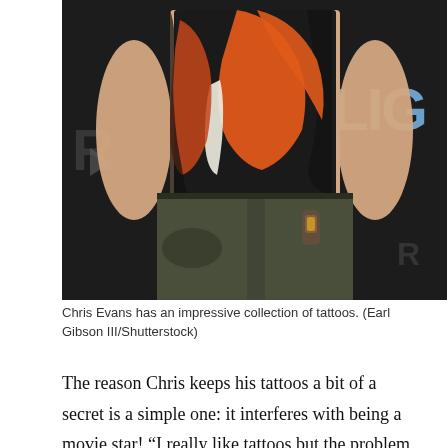[Figure (photo): Chris Evans photographed from the torso down, wearing a black, orange, and cream abstract-patterned sleeveless top and dark olive/khaki trousers with his hands in his pockets, against a dark event backdrop with partial text 'LIG' and 'R' visible.]
Chris Evans has an impressive collection of tattoos. (Earl Gibson III/Shutterstock)
The reason Chris keeps his tattoos a bit of a secret is a simple one: it interferes with being a movie star! “I really like tattoos but the problem is if they are… when you wear a short sleeve shirt in a movie, that’s an extra